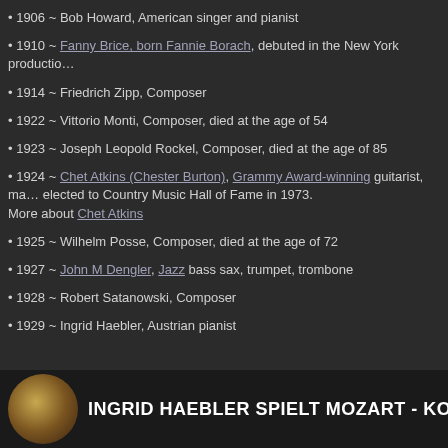1906 ~ Bob Howard, American singer and pianist
1910 ~ Fanny Brice, born Fannie Borach, debuted in the New York productio…
1914 ~ Friedrich Zipp, Composer
1922 ~ Vittorio Monti, Composer, died at the age of 54
1923 ~ Joseph Leopold Rockel, Composer, died at the age of 85
1924 ~ Chet Atkins (Chester Burton), Grammy Award-winning guitarist, mad… elected to Country Music Hall of Fame in 1973. More about Chet Atkins
1925 ~ Wilhelm Posse, Composer, died at the age of 72
1927 ~ John M Dengler, Jazz bass sax, trumpet, trombone
1928 ~ Robert Satanowski, Composer
1929 ~ Ingrid Haebler, Austrian pianist
[Figure (screenshot): Video thumbnail for Ingrid Haebler spielt Mozart - Konzert, showing a circular portrait photo and bold white text on dark background: INGRID HAEBLER SPIELT MOZART - KONZE]